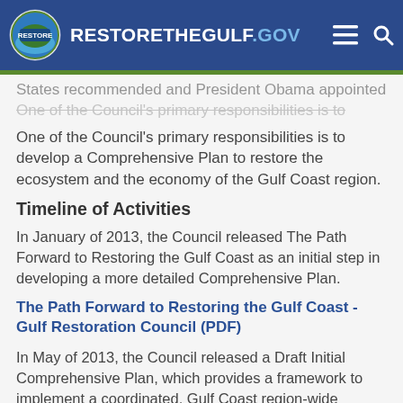RESTORETHEGULF.GOV
States recommended and President Obama appointed ... One of the Council's primary responsibilities is to develop a Comprehensive Plan to restore the ecosystem and the economy of the Gulf Coast region.
Timeline of Activities
In January of 2013, the Council released The Path Forward to Restoring the Gulf Coast as an initial step in developing a more detailed Comprehensive Plan.
The Path Forward to Restoring the Gulf Coast - Gulf Restoration Council (PDF)
In May of 2013, the Council released a Draft Initial Comprehensive Plan, which provides a framework to implement a coordinated, Gulf Coast region-wide restoration effort in a way that restores, protects and